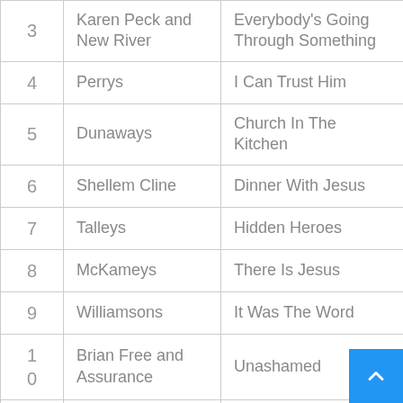| # | Artist | Song |
| --- | --- | --- |
| 3 | Karen Peck and New River | Everybody's Going Through Something |
| 4 | Perrys | I Can Trust Him |
| 5 | Dunaways | Church In The Kitchen |
| 6 | Shellem Cline | Dinner With Jesus |
| 7 | Talleys | Hidden Heroes |
| 8 | McKameys | There Is Jesus |
| 9 | Williamsons | It Was The Word |
| 10 | Brian Free and Assurance | Unashamed |
| 11 | Greater Vision | The Blood Hasn't Ever Changed |